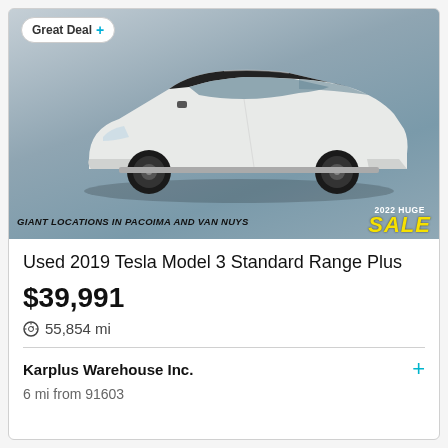[Figure (photo): White 2019 Tesla Model 3 parked in a showroom-like setting with gray floor and walls. An overlay at bottom reads 'GIANT LOCATIONS IN PACOIMA AND VAN NUYS' and '2022 HUGE SALE' in yellow bold text. A 'Great Deal +' badge appears in the top-left corner.]
Used 2019 Tesla Model 3 Standard Range Plus
$39,991
55,854 mi
Karplus Warehouse Inc.
6 mi from 91603